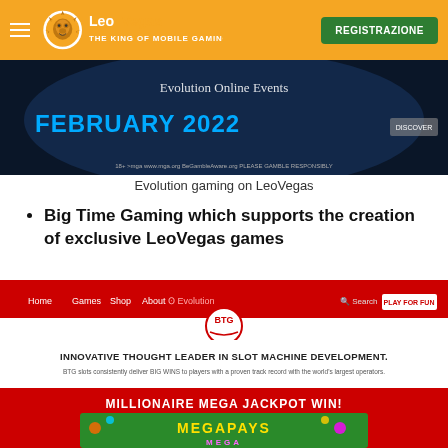LeoVegas | REGISTRAZIONE
[Figure (screenshot): Evolution Online Events / LeoVegas banner with FEBRUARY 2022 text and MGA logo on dark background]
Evolution gaming on LeoVegas
Big Time Gaming which supports the creation of exclusive LeoVegas games
[Figure (screenshot): Big Time Gaming website screenshot showing red header with BTG logo, navigation, and INNOVATIVE THOUGHT LEADER IN SLOT MACHINE DEVELOPMENT. headline, followed by MILLIONAIRE MEGA JACKPOT WIN! banner with Megapays game image]